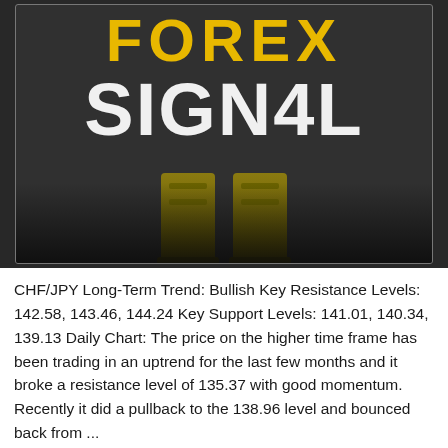[Figure (logo): Forex Signal logo — bold yellow 'FOREX' text on dark background above large white 'SIGN4L' text with robot/humanoid figure legs visible below in gold/olive color]
CHF/JPY Long-Term Trend: Bullish Key Resistance Levels: 142.58, 143.46, 144.24 Key Support Levels: 141.01, 140.34, 139.13 Daily Chart: The price on the higher time frame has been trading in an uptrend for the last few months and it broke a resistance level of 135.37 with good momentum. Recently it did a pullback to the 138.96 level and bounced back from ...